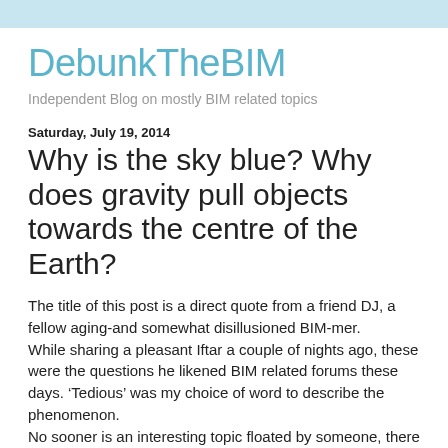DebunkTheBIM
Independent Blog on mostly BIM related topics
Saturday, July 19, 2014
Why is the sky blue? Why does gravity pull objects towards the centre of the Earth?
The title of this post is a direct quote from a friend DJ, a fellow aging-and somewhat disillusioned BIM-mer.
While sharing a pleasant Iftar a couple of nights ago, these were the questions he likened BIM related forums these days. 'Tedious' was my choice of word to describe the phenomenon.
No sooner is an interesting topic floated by someone, there are dozens of new kids on the block that will come up with the most fundamental questions to kill it off and steer the